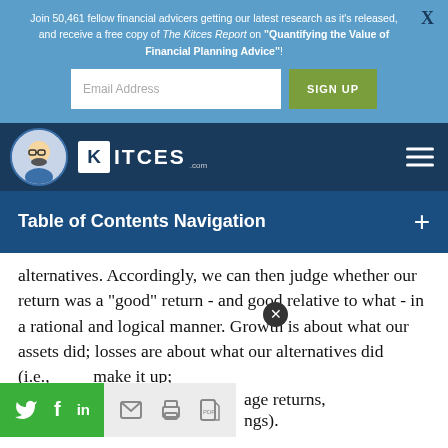Join 50,461 fellow financial advicers getting our latest research as it's released, and receive a free copy of The Kitces Report on "Quantifying the Value of Financial Planning Advice"!
[Figure (screenshot): Email signup form with email address input field and green SIGN UP button]
[Figure (logo): Kitces.com logo with avatar icon and hamburger menu on dark navy background]
Table of Contents Navigation
alternatives. Accordingly, we can then judge whether our return was a "good" return - and good relative to what - in a rational and logical manner. Growth is about what our assets did; losses are about what our alternatives did (i.e., we make it up; average returns, ngs).
[Figure (screenshot): Social sharing bar with Twitter, Facebook, LinkedIn, email, print, and PDF icons on green and gray backgrounds]